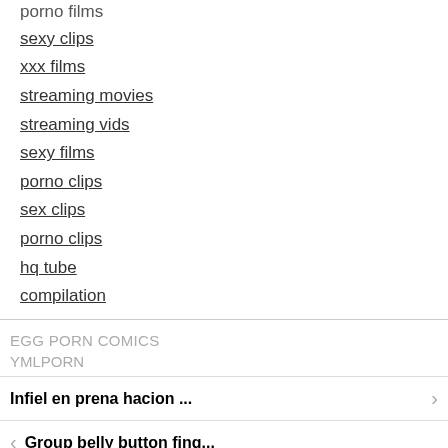porno films
sexy clips
xxx films
streaming movies
streaming vids
sexy films
porno clips
sex clips
porno clips
hq tube
compilation
EGG PORN COMICS
YMLPORN
Infiel en prena hacion ...
Group belly button fing...